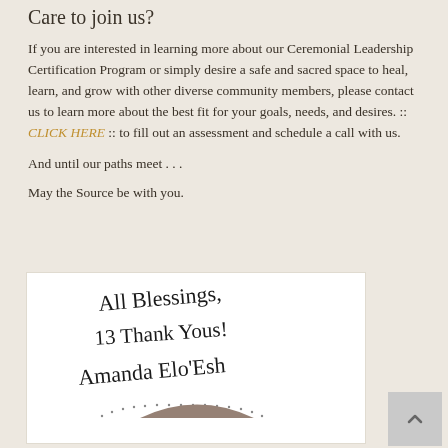Care to join us?
If you are interested in learning more about our Ceremonial Leadership Certification Program or simply desire a safe and sacred space to heal, learn, and grow with other diverse community members, please contact us to learn more about the best fit for your goals, needs, and desires. :: CLICK HERE :: to fill out an assessment and schedule a call with us.
And until our paths meet . . .
May the Source be with you.
[Figure (photo): Handwritten signature reading 'All Blessings, 13 Thank Yous! Amanda Elo'Esh' in cursive on white background, with bottom portion showing what appears to be a head/photo with dotted arc pattern]